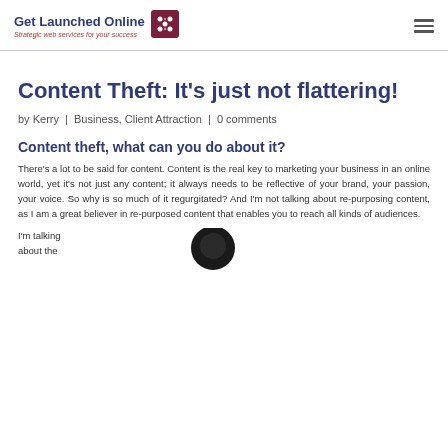Get Launched Online — Strategic web services for your success
Content Theft: It's just not flattering!
by Kerry | Business, Client Attraction | 0 comments
Content theft, what can you do about it?
There's a lot to be said for content. Content is the real key to marketing your business in an online world, yet it's not just any content; it always needs to be reflective of your brand, your passion, your voice. So why is so much of it regurgitated? And I'm not talking about re-purposing content, as I am a great believer in re-purposed content that enables you to reach all kinds of audiences.
I'm talking about the